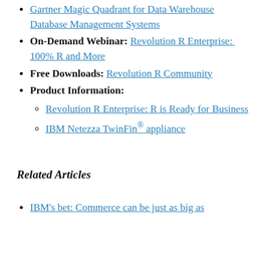Gartner Magic Quadrant for Data Warehouse Database Management Systems
On-Demand Webinar: Revolution R Enterprise:  100% R and More
Free Downloads: Revolution R Community
Product Information:
Revolution R Enterprise: R is Ready for Business
IBM Netezza TwinFin® appliance
Related Articles
IBM's bet: Commerce can be just as big as